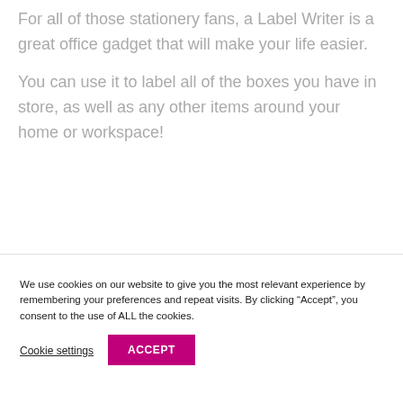For all of those stationery fans, a Label Writer is a great office gadget that will make your life easier.
You can use it to label all of the boxes you have in store, as well as any other items around your home or workspace!
We use cookies on our website to give you the most relevant experience by remembering your preferences and repeat visits. By clicking “Accept”, you consent to the use of ALL the cookies.
Cookie settings
ACCEPT